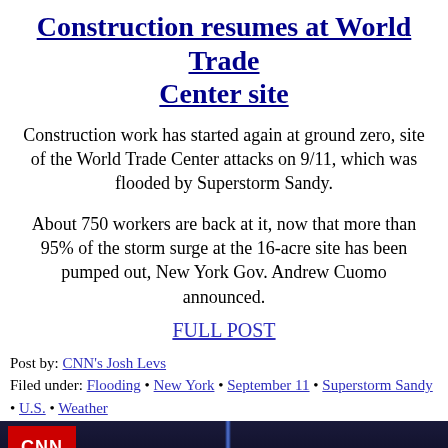Construction resumes at World Trade Center site
Construction work has started again at ground zero, site of the World Trade Center attacks on 9/11, which was flooded by Superstorm Sandy.
About 750 workers are back at it, now that more than 95% of the storm surge at the 16-acre site has been pumped out, New York Gov. Andrew Cuomo announced.
FULL POST
Post by: CNN's Josh Levs
Filed under: Flooding • New York • September 11 • Superstorm Sandy • U.S. • Weather
[Figure (photo): Dark night sky photo with blue beam of light, CNN iReport logo badge in top left corner]